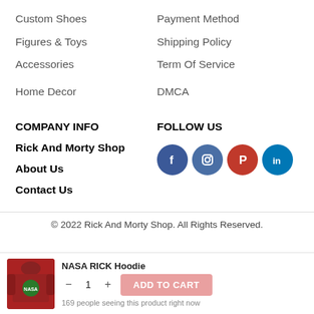Custom Shoes
Figures & Toys
Accessories
Home Decor
Payment Method
Shipping Policy
Term Of Service
DMCA
COMPANY INFO
FOLLOW US
Rick And Morty Shop
[Figure (infographic): Row of four social media icon circles: Facebook (blue), Instagram (blue), Pinterest (red), LinkedIn (blue)]
About Us
Contact Us
© 2022 Rick And Morty Shop. All Rights Reserved.
[Figure (screenshot): Sticky add-to-cart bar showing a NASA RICK Hoodie product image, quantity selector with minus, 1, plus, and ADD TO CART button, with text '169 people seeing this product right now']